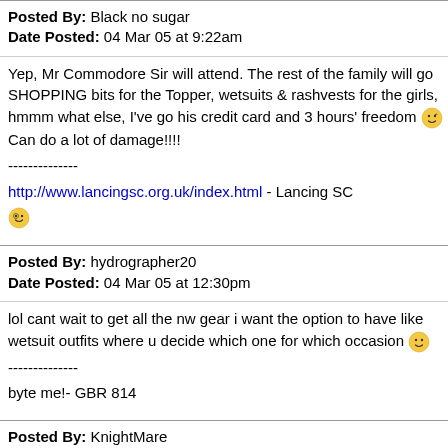Posted By: Black no sugar
Date Posted: 04 Mar 05 at 9:22am
Yep, Mr Commodore Sir will attend. The rest of the family will go SHOPPING bits for the Topper, wetsuits & rashvests for the girls, hmmm what else, I've got his credit card and 3 hours' freedom Can do a lot of damage!!!!
-------------- 
http://www.lancingsc.org.uk/index.html - Lancing SC
Posted By: hydrographer20
Date Posted: 04 Mar 05 at 12:30pm
lol cant wait to get all the nw gear i want the option to have like wetsuit outfits where u decide which one for which occasion
--------------
byte me!- GBR 814
Posted By: KnightMare
Date Posted: 04 Mar 05 at 9:11pm